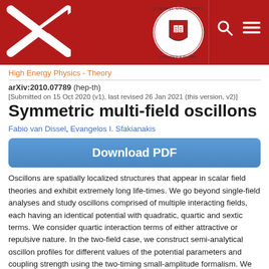[Figure (logo): arXiv and Cornell University header bar with arXiv X logo on left, Cornell University seal in center-right, and search/menu icons on far right, all on dark red background]
High Energy Physics - Theory
arXiv:2010.07789 (hep-th)
[Submitted on 15 Oct 2020 (v1), last revised 26 Jan 2021 (this version, v2)]
Symmetric multi-field oscillons
Fabio van Dissel, Evangelos I. Sfakianakis
Download PDF
Oscillons are spatially localized structures that appear in scalar field theories and exhibit extremely long life-times. We go beyond single-field analyses and study oscillons comprised of multiple interacting fields, each having an identical potential with quadratic, quartic and sextic terms. We consider quartic interaction terms of either attractive or repulsive nature. In the two-field case, we construct semi-analytical oscillon profiles for different values of the potential parameters and coupling strength using the two-timing small-amplitude formalism. We show that the interaction sign, attractive or repulsive, leads to different